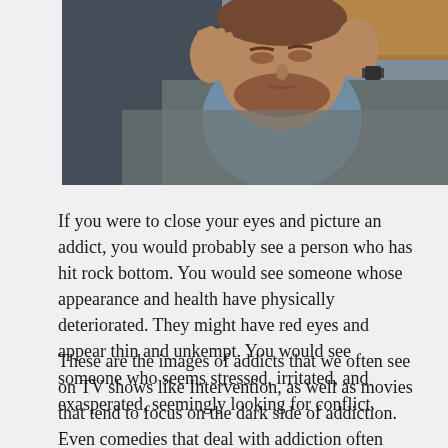[Figure (photo): A distressed-looking bearded man with his hands raised near his head, wearing a blue shirt and a grey jacket, with a watch on his wrist. The background shows a wooden surface. The image is cropped at the top showing mostly his upper body and face.]
If you were to close your eyes and picture an addict, you would probably see a person who has hit rock bottom. You would see someone whose appearance and health have physically deteriorated. They might have red eyes and appear thin and unkempt. You would see someone who seems stressed, irritated, and exasperated, seemingly looking for conflict.
These are the images of addicts that we often see on TV shows like Intervention, as well as movies that tend to focus on the dark side of addiction. Even comedies that deal with addiction often make light of...